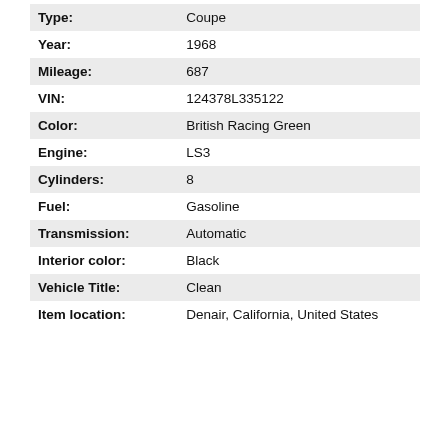| Field | Value |
| --- | --- |
| Type: | Coupe |
| Year: | 1968 |
| Mileage: | 687 |
| VIN: | 124378L335122 |
| Color: | British Racing Green |
| Engine: | LS3 |
| Cylinders: | 8 |
| Fuel: | Gasoline |
| Transmission: | Automatic |
| Interior color: | Black |
| Vehicle Title: | Clean |
| Item location: | Denair, California, United States |